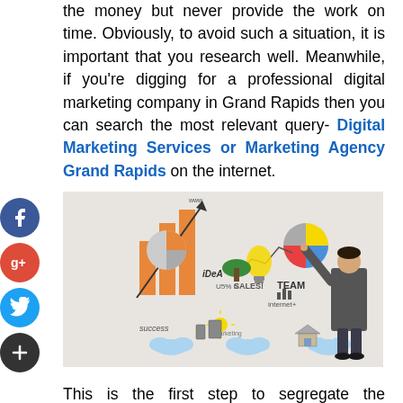the money but never provide the work on time. Obviously, to avoid such a situation, it is important that you research well. Meanwhile, if you're digging for a professional digital marketing company in Grand Rapids then you can search the most relevant query- Digital Marketing Services or Marketing Agency Grand Rapids on the internet.
[Figure (photo): A businessperson writing on a wall filled with digital marketing concepts including bar charts, pie charts, lightbulb, growth arrows, and text labels like IDEA, SALES, TEAM, internet, success, marketing.]
This is the first step to segregate the pretenders from the contenders. An agency that has a clean track record has established a reputable status in the market and engages in clear communication with you